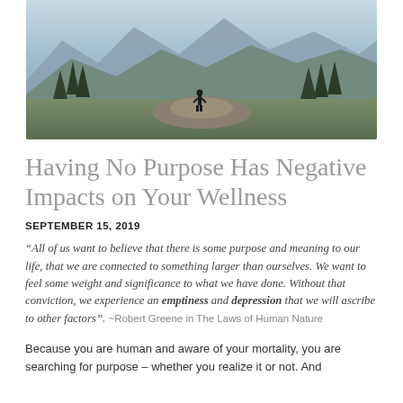[Figure (photo): Person standing on a rock in a mountainous landscape with pine trees and misty blue mountains in the background.]
Having No Purpose Has Negative Impacts on Your Wellness
SEPTEMBER 15, 2019
“All of us want to believe that there is some purpose and meaning to our life, that we are connected to something larger than ourselves. We want to feel some weight and significance to what we have done. Without that conviction, we experience an emptiness and depression that we will ascribe to other factors”. ~Robert Greene in The Laws of Human Nature
Because you are human and aware of your mortality, you are searching for purpose – whether you realize it or not. And